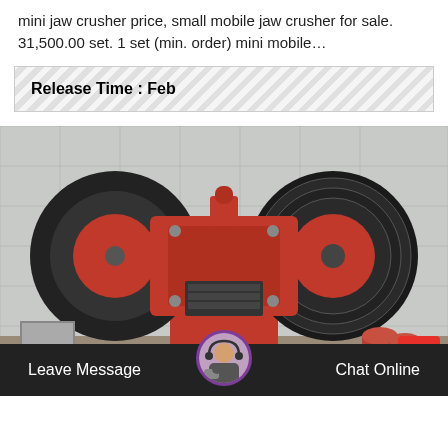mini jaw crusher price, small mobile jaw crusher for sale. 31,500.00 set. 1 set (min. order) mini mobile…
Release Time : Feb
[Figure (photo): Photo of a red mini jaw crusher machine with two large black flywheels, displayed on a tiled floor against a white tiled wall background.]
Leave Message
Chat Online